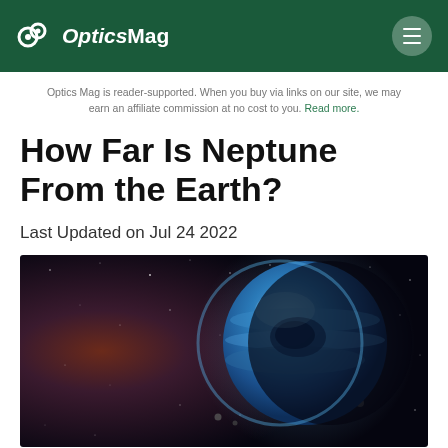OpticsMag
Optics Mag is reader-supported. When you buy via links on our site, we may earn an affiliate commission at no cost to you. Read more.
How Far Is Neptune From the Earth?
Last Updated on Jul 24 2022
[Figure (photo): Artistic rendering of Neptune in space — a large blue planet with swirling cloud patterns, set against a dark starry background with a reddish-orange glow on the left side]